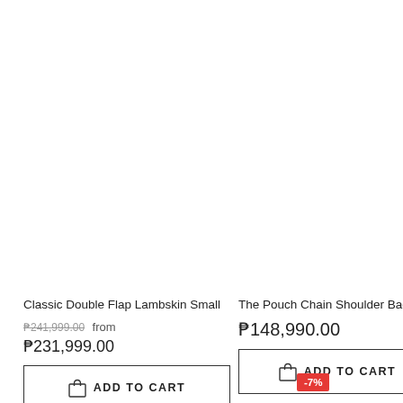Classic Double Flap Lambskin Small
₱241,999.00 from ₱231,999.00
ADD TO CART
The Pouch Chain Shoulder Bag
₱148,990.00
ADD TO CART
-7%